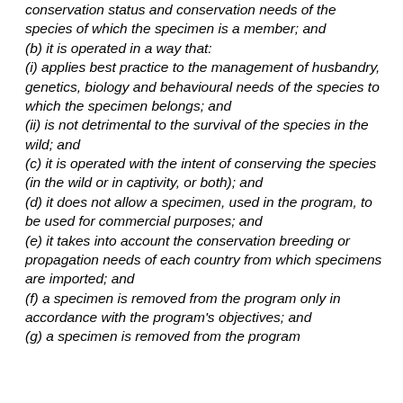conservation status and conservation needs of the species of which the specimen is a member; and
(b) it is operated in a way that:
(i) applies best practice to the management of husbandry, genetics, biology and behavioural needs of the species to which the specimen belongs; and
(ii) is not detrimental to the survival of the species in the wild; and
(c) it is operated with the intent of conserving the species (in the wild or in captivity, or both); and
(d) it does not allow a specimen, used in the program, to be used for commercial purposes; and
(e) it takes into account the conservation breeding or propagation needs of each country from which specimens are imported; and
(f) a specimen is removed from the program only in accordance with the program's objectives; and
(g) ...